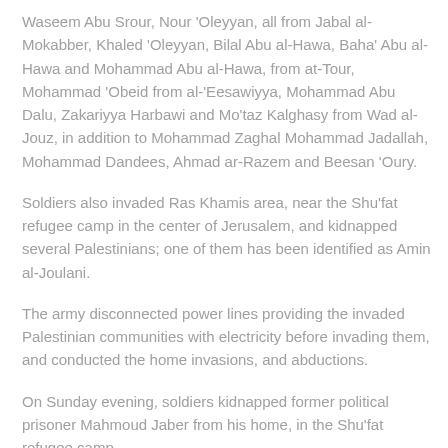Waseem Abu Srour, Nour 'Oleyyan, all from Jabal al-Mokabber, Khaled 'Oleyyan, Bilal Abu al-Hawa, Baha' Abu al-Hawa and Mohammad Abu al-Hawa, from at-Tour, Mohammad 'Obeid from al-'Eesawiyya, Mohammad Abu Dalu, Zakariyya Harbawi and Mo'taz Kalghasy from Wad al-Jouz, in addition to Mohammad Zaghal Mohammad Jadallah, Mohammad Dandees, Ahmad ar-Razem and Beesan 'Oury.
Soldiers also invaded Ras Khamis area, near the Shu'fat refugee camp in the center of Jerusalem, and kidnapped several Palestinians; one of them has been identified as Amin al-Joulani.
The army disconnected power lines providing the invaded Palestinian communities with electricity before invading them, and conducted the home invasions, and abductions.
On Sunday evening, soldiers kidnapped former political prisoner Mahmoud Jaber from his home, in the Shu'fat refugee camp.
Also on Sunday, soldiers kidnapped a Palestinian woman, identified as Hanadi al-Hilwani, as she was leaving the al-Aqsa Mosque, and also kidnapped...